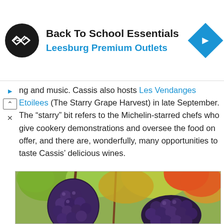[Figure (infographic): Advertisement banner: circular black logo with two overlapping arrows, text 'Back To School Essentials' in bold black and 'Leesburg Premium Outlets' in blue, blue diamond navigation icon on the right]
ng and music. Cassis also hosts Les Vendanges Etoilees (The Starry Grape Harvest) in late September. The “starry” bit refers to the Michelin-starred chefs who give cookery demonstrations and oversee the food on offer, and there are, wonderfully, many opportunities to taste Cassis’ delicious wines.
[Figure (photo): Close-up photograph of dark purple/black grape clusters hanging on a vine with green and orange autumn leaves in the background]